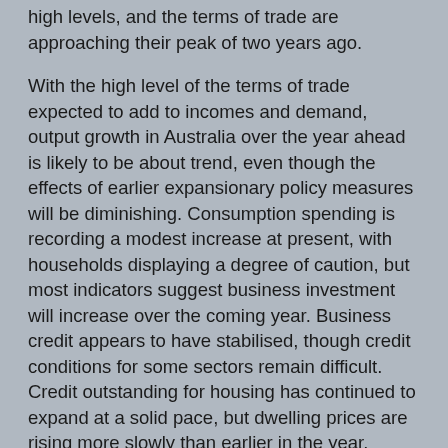high levels, and the terms of trade are approaching their peak of two years ago.
With the high level of the terms of trade expected to add to incomes and demand, output growth in Australia over the year ahead is likely to be about trend, even though the effects of earlier expansionary policy measures will be diminishing. Consumption spending is recording a modest increase at present, with households displaying a degree of caution, but most indicators suggest business investment will increase over the coming year. Business credit appears to have stabilised, though credit conditions for some sectors remain difficult. Credit outstanding for housing has continued to expand at a solid pace, but dwelling prices are rising more slowly than earlier in the year.
The labour market has continued to firm gradually, and after the significant decline last year, growth in wages has picked up a little, as had been expected. Underlying inflation appears likely to be in the upper half of the target zone over the next year. The rate of CPI increase is likely to be a little above. Counteracting the current-year boost, the effects of